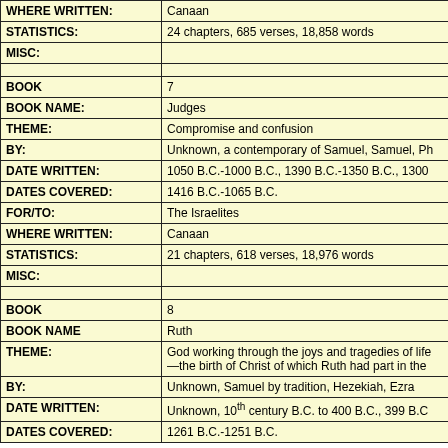| Field | Value |
| --- | --- |
| WHERE WRITTEN: | Canaan |
| STATISTICS: | 24 chapters, 685 verses, 18,858 words |
| MISC: |  |
|  |  |
| BOOK | 7 |
| BOOK NAME: | Judges |
| THEME: | Compromise and confusion |
| BY: | Unknown, a contemporary of Samuel, Samuel, Ph… |
| DATE WRITTEN: | 1050 B.C.-1000 B.C., 1390 B.C.-1350 B.C., 1300… |
| DATES COVERED: | 1416 B.C.-1065 B.C. |
| FOR/TO: | The Israelites |
| WHERE WRITTEN: | Canaan |
| STATISTICS: | 21 chapters, 618 verses, 18,976 words |
| MISC: |  |
|  |  |
| BOOK | 8 |
| BOOK NAME | Ruth |
| THEME: | God working through the joys and tragedies of life—the birth of Christ of which Ruth had part in the… |
| BY: | Unknown, Samuel by tradition, Hezekiah, Ezra |
| DATE WRITTEN: | Unknown, 10th century B.C. to 400 B.C., 399 B.C… |
| DATES COVERED: | 1261 B.C.-1251 B.C. |